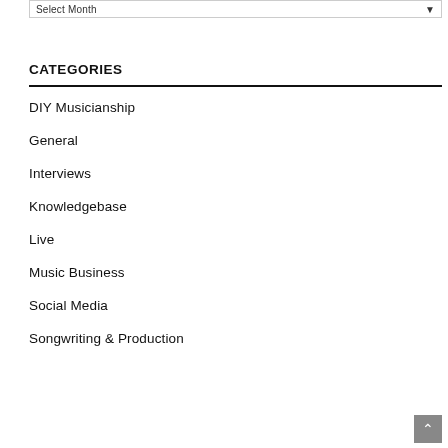Select Month
CATEGORIES
DIY Musicianship
General
Interviews
Knowledgebase
Live
Music Business
Social Media
Songwriting & Production